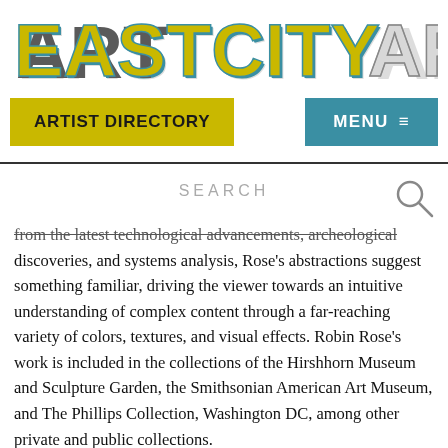[Figure (logo): EastCityArt logo in stylized block letters with teal/gray 3D effect on white background]
ARTIST DIRECTORY
MENU ≡
SEARCH
from the latest technological advancements, archeological discoveries, and systems analysis, Rose's abstractions suggest something familiar, driving the viewer towards an intuitive understanding of complex content through a far-reaching variety of colors, textures, and visual effects. Robin Rose's work is included in the collections of the Hirshhorn Museum and Sculpture Garden, the Smithsonian American Art Museum, and The Phillips Collection, Washington DC, among other private and public collections.
Robin Rose: 19 Paintings is concurrent with Hedieh Javanshir Ilchi: Listen to the night as it makes itself hollow on view at